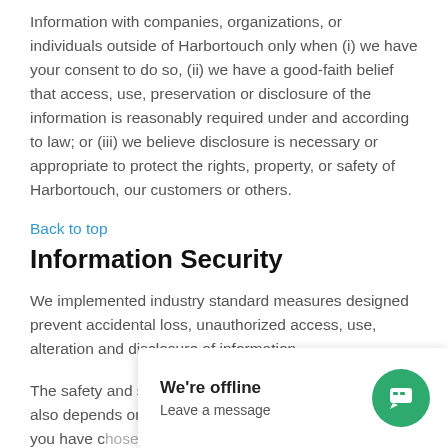Information with companies, organizations, or individuals outside of Harbortouch only when (i) we have your consent to do so, (ii) we have a good-faith belief that access, use, preservation or disclosure of the information is reasonably required under and according to law; or (iii) we believe disclosure is necessary or appropriate to protect the rights, property, or safety of Harbortouch, our customers or others.
Back to top
Information Security
We implemented industry standard measures designed prevent accidental loss, unauthorized access, use, alteration and disclosure of information.
The safety and security of your Personal Information also depends on you (or where applicable (or where you have chosen a password to access certain parts of our website, you are responsible for
[Figure (screenshot): Chat widget showing 'We're offline' and 'Leave a message' text with green chat icon button in bottom right corner]